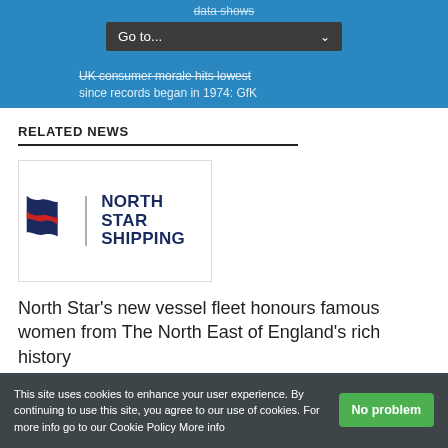data shows
Go to...
UK consumer morale hits lowest since records began in 1974: GfK
RELATED NEWS
[Figure (logo): North Star Shipping logo with flag icon]
North Star's new vessel fleet honours famous women from The North East of England's rich history
24/08/2022
This site uses cookies to enhance your user experience. By continuing to use this site, you agree to our use of cookies. For more info go to our Cookie Policy More info